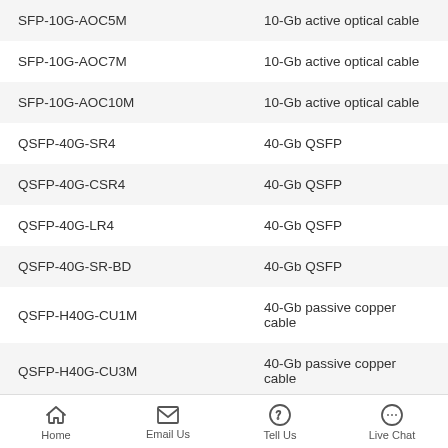| Model | Description |
| --- | --- |
| SFP-10G-AOC5M | 10-Gb active optical cable |
| SFP-10G-AOC7M | 10-Gb active optical cable |
| SFP-10G-AOC10M | 10-Gb active optical cable |
| QSFP-40G-SR4 | 40-Gb QSFP |
| QSFP-40G-CSR4 | 40-Gb QSFP |
| QSFP-40G-LR4 | 40-Gb QSFP |
| QSFP-40G-SR-BD | 40-Gb QSFP |
| QSFP-H40G-CU1M | 40-Gb passive copper cable |
| QSFP-H40G-CU3M | 40-Gb passive copper cable |
| QSFP-H40G-CU5M | 40-Gb passive copper cable |
Home  Email Us  Tell Us  Live Chat